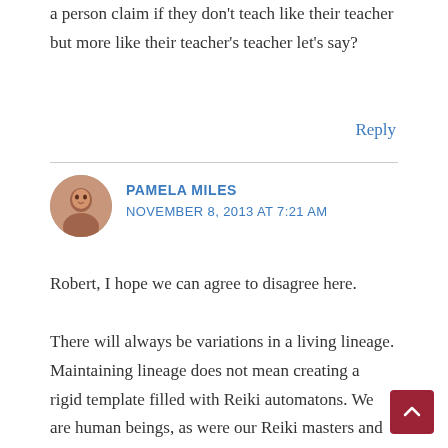a person claim if they don't teach like their teacher but more like their teacher's teacher let's say?
Reply
PAMELA MILES
NOVEMBER 8, 2013 AT 7:21 AM
Robert, I hope we can agree to disagree here.
There will always be variations in a living lineage. Maintaining lineage does not mean creating a rigid template filled with Reiki automatons. We are human beings, as were our Reiki masters and the masters before them.